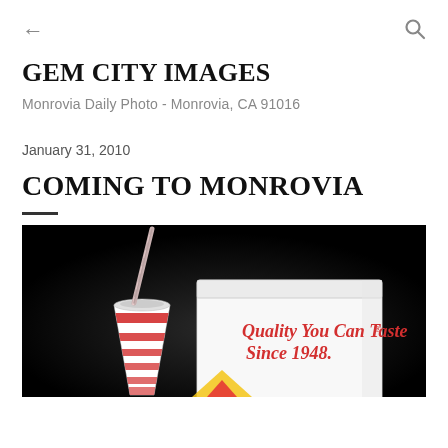← (back) Q (search)
GEM CITY IMAGES
Monrovia Daily Photo - Monrovia, CA 91016
January 31, 2010
COMING TO MONROVIA
[Figure (photo): In-N-Out Burger items: a drink cup with red-and-white striped straw and a white paper bag reading 'Quality You Can Taste® Since 1948.' against a black background.]